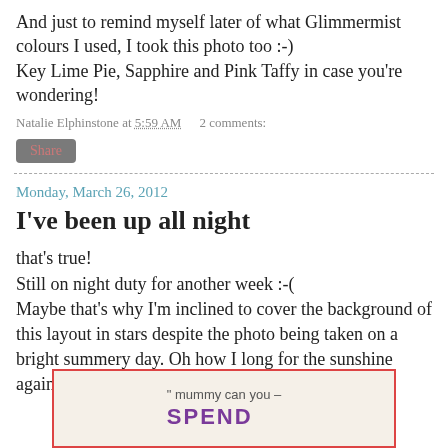And just to remind myself later of what Glimmermist colours I used, I took this photo too :-)
Key Lime Pie, Sapphire and Pink Taffy in case you're wondering!
Natalie Elphinstone at 5:59 AM    2 comments:
Share
Monday, March 26, 2012
I've been up all night
that's true!
Still on night duty for another week :-(
Maybe that's why I'm inclined to cover the background of this layout in stars despite the photo being taken on a bright summery day. Oh how I long for the sunshine again.
[Figure (photo): Photo of a card or scrapbook layout with handwritten text reading 'mummy can you SPEND']